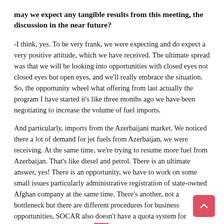may we expect any tangible results from this meeting, the discussion in the near future?
-I think, yes. To be very frank, we were expecting and do expect a very positive attitude, which we have received. The ultimate spread was that we will be looking into opportunities with closed eyes not closed eyes but open eyes, and we'll really embrace the situation. So, the opportunity wheel what offering from last actually the program I have started it's like three months ago we have been negotiating to increase the volume of fuel imports.
And particularly, imports from the Azerbaijani market. We noticed there a lot of demand for jet fuels from Azerbaijan, we were receiving. At the same time, we're trying to resume more fuel from Azerbaijan. That's like diesel and petrol. There is an ultimate answer, yes! There is an opportunity, we have to work on some small issues particularly administrative registration of state-owned Afghan company at the same time. There's another, not a bottleneck but there are different procedures for business opportunities, SOCAR also doesn't have a quota system for Afghanistan. We were expecting if they can allocate a certain amount of fuel for export to Afghan